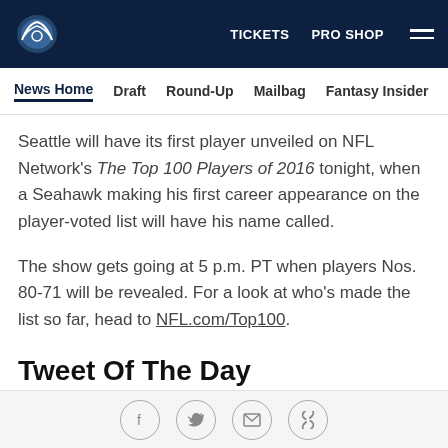TICKETS  PRO SHOP
News Home  Draft  Round-Up  Mailbag  Fantasy Insider  Roste
Seattle will have its first player unveiled on NFL Network's The Top 100 Players of 2016 tonight, when a Seahawk making his first career appearance on the player-voted list will have his name called.
The show gets going at 5 p.m. PT when players Nos. 80-71 will be revealed. For a look at who's made the list so far, head to NFL.com/Top100.
Tweet Of The Day
[Figure (screenshot): Partial tweet embed box with play icon visible at bottom of page]
Social share icons: Facebook, Twitter, Email, Link